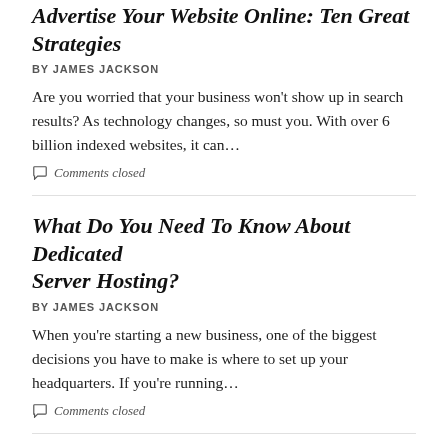Advertise Your Website Online: Ten Great Strategies
BY JAMES JACKSON
Are you worried that your business won't show up in search results? As technology changes, so must you. With over 6 billion indexed websites, it can…
Comments closed
What Do You Need To Know About Dedicated Server Hosting?
BY JAMES JACKSON
When you're starting a new business, one of the biggest decisions you have to make is where to set up your headquarters. If you're running…
Comments closed
5 Tips You Missed for Successful Virtual Business Meeting
BY G GUPTA